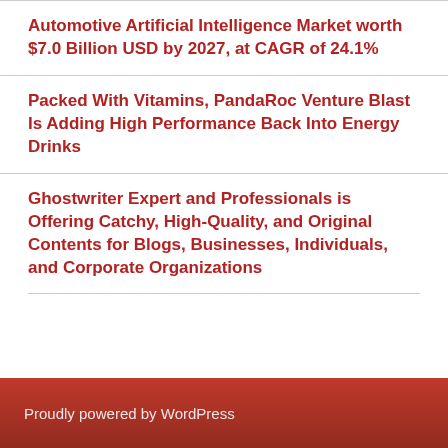Automotive Artificial Intelligence Market worth $7.0 Billion USD by 2027, at CAGR of 24.1%
Packed With Vitamins, PandaRoc Venture Blast Is Adding High Performance Back Into Energy Drinks
Ghostwriter Expert and Professionals is Offering Catchy, High-Quality, and Original Contents for Blogs, Businesses, Individuals, and Corporate Organizations
Proudly powered by WordPress